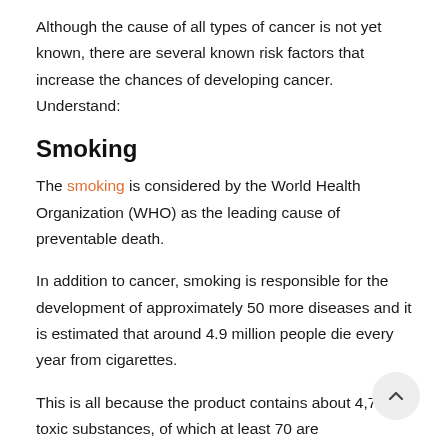Although the cause of all types of cancer is not yet known, there are several known risk factors that increase the chances of developing cancer. Understand:
Smoking
The smoking is considered by the World Health Organization (WHO) as the leading cause of preventable death.
In addition to cancer, smoking is responsible for the development of approximately 50 more diseases and it is estimated that around 4.9 million people die every year from cigarettes.
This is all because the product contains about 4,720 toxic substances, of which at least 70 are carcinogenic.